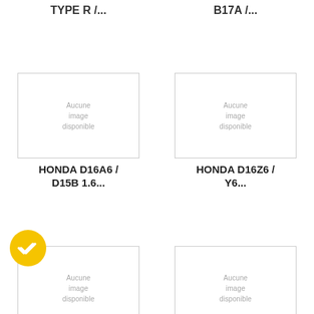TYPE R /...
B17A /...
[Figure (photo): Aucune image disponible placeholder for HONDA D16A6 / D15B 1.6...]
HONDA D16A6 / D15B 1.6...
[Figure (photo): Aucune image disponible placeholder for HONDA D16Z6 / Y6...]
HONDA D16Z6 / Y6...
[Figure (photo): Aucune image disponible placeholder for HONDA B18A / B18B /]
HONDA B18A / B18B /
[Figure (photo): Aucune image disponible placeholder for HONDA ZC / D16A1 /]
HONDA ZC / D16A1 /